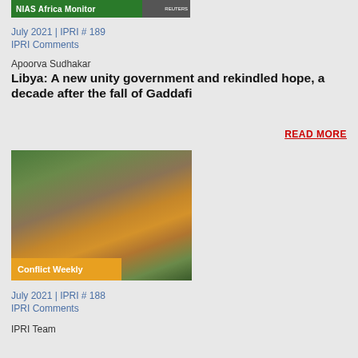[Figure (photo): NIAS Africa Monitor banner with Reuters photo thumbnail in top-right]
July 2021 | IPRI # 189
IPRI Comments
Apoorva Sudhakar
Libya: A new unity government and rekindled hope, a decade after the fall of Gaddafi
READ MORE
[Figure (photo): Aerial view of flood damage with brown muddy water and eroded terrain, labeled 'Conflict Weekly']
July 2021 | IPRI # 188
IPRI Comments
IPRI Team